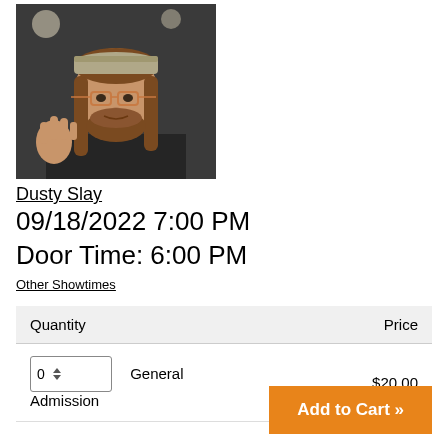[Figure (photo): Photo of Dusty Slay, a man with long hair, beard, and glasses wearing a cap and dark shirt, gesturing with one hand]
Dusty Slay
09/18/2022 7:00 PM
Door Time: 6:00 PM
Other Showtimes
| Quantity | Price |
| --- | --- |
| 0  General Admission | $20.00 |
Add to Cart »